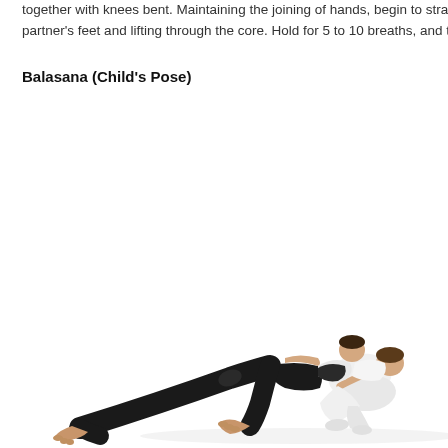together with knees bent. Maintaining the joining of hands, begin to straighten partner's feet and lifting through the core. Hold for 5 to 10 breaths, and t
Balasana (Child's Pose)
[Figure (photo): Two people performing a partner yoga pose related to Balasana (Child's Pose). One person in black pants is lying/stretching with legs extended while the other person in white is in a crouched child's pose position. Both are on a white background.]